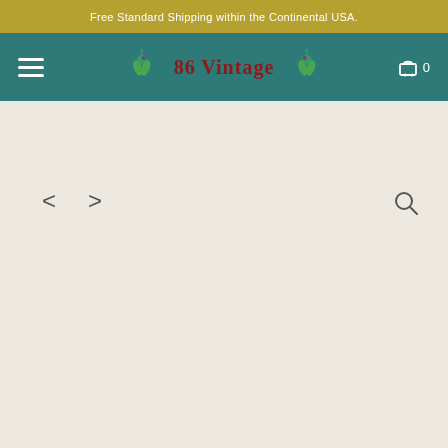Free Standard Shipping within the Continental USA.
[Figure (logo): 86 Vintage store logo with peacock decorations on teal navigation bar]
Home › vintage leather work boots by Red Wing
[Figure (illustration): Navigation arrows (left < and right >) and a search icon (magnifying glass)]